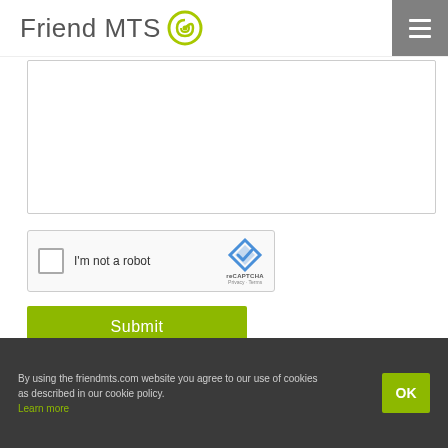[Figure (logo): Friend MTS logo with green spiral icon on the right side of the text]
[Figure (screenshot): Empty textarea input field with grey border]
[Figure (screenshot): reCAPTCHA widget with checkbox, 'I'm not a robot' label, and reCAPTCHA logo with Privacy and Terms links]
Submit
By using the friendmts.com website you agree to our use of cookies as described in our cookie policy. Learn more